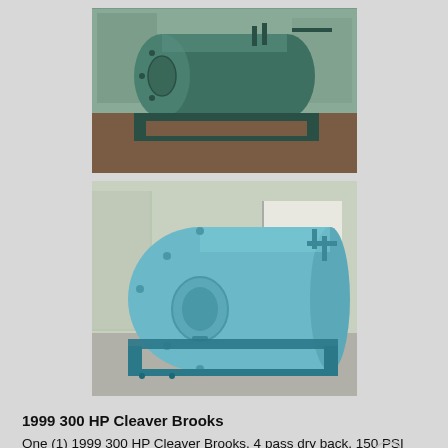[Figure (photo): Photograph of a dark teal/green industrial boiler lying horizontally on a metal skid frame inside a warehouse facility. The boiler is a large cylindrical pressure vessel.]
[Figure (photo): Photograph of a light teal/blue industrial boiler on a skid frame inside an industrial building. The boiler is a large cylindrical vessel viewed from the front end, showing the circular head.]
1999 300 HP Cleaver Brooks
One (1) 1999 300 HP Cleaver Brooks, 4 pass dry back, 150 PSI design pressure, natural gas and No. 2 oil fired.